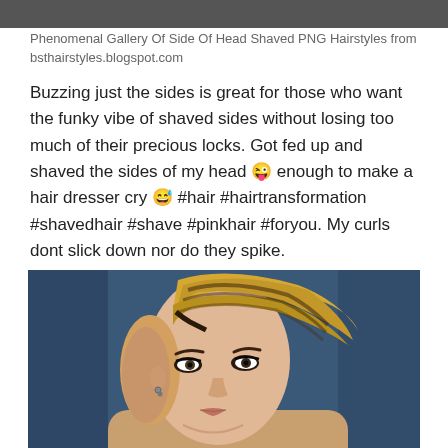[Figure (photo): Cropped top portion of a photo showing a person with shaved sides hairstyle, partially visible at top of page]
Phenomenal Gallery Of Side Of Head Shaved PNG Hairstyles from bsthairstyles.blogspot.com
Buzzing just the sides is great for those who want the funky vibe of shaved sides without losing too much of their precious locks. Got fed up and shaved the sides of my head 😜 enough to make a hair dresser cry 😅 #hair #hairtransformation #shavedhair #shave #pinkhair #foryou. My curls dont slick down nor do they spike.
[Figure (photo): Young woman with blonde hair swept to one side and shaved sides, posing against a dark blue background. She has dark eye makeup and small earrings.]